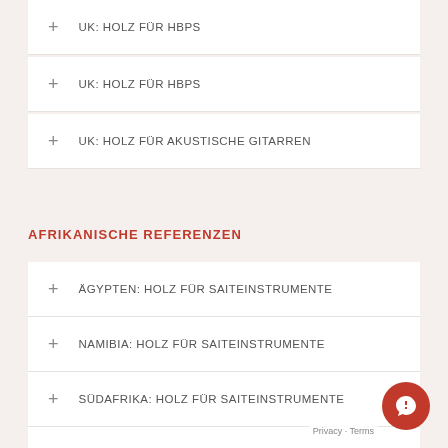+ UK: HOLZ FÜR HBPS
+ UK: HOLZ FÜR HBPS
+ UK: HOLZ FÜR AKUSTISCHE GITARREN
AFRIKANISCHE REFERENZEN
+ ÄGYPTEN: HOLZ FÜR SAITEINSTRUMENTE
+ NAMIBIA: HOLZ FÜR SAITEINSTRUMENTE
+ SÜDAFRIKA: HOLZ FÜR SAITEINSTRUMENTE
+ SÜDAFRIKA: HOLZ FÜR DRECHSLER
+ SÜDAFRIKA: HOLZ FÜR DUDELSAECKE